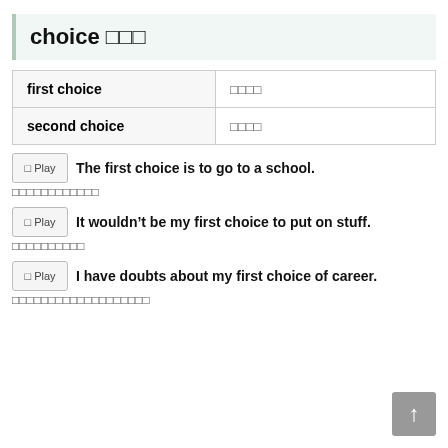choice □□□
|  |  |
| --- | --- |
| first choice | □□□□ |
| second choice | □□□□ |
▶ Play  The first choice is to go to a school.
□□□□□□□□□□□□
▶ Play  It wouldn't be my first choice to put on stuff.
□□□□□□□□□□
▶ Play  I have doubts about my first choice of career.
□□□□□□□□□□□□□□□□□□□